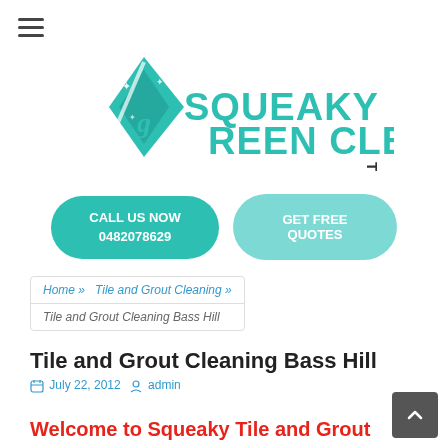[Figure (logo): Squeaky Green Clean Team logo with teal diamond/cleaning iron icon and stylized text]
[Figure (other): Two buttons: 'CALL US NOW 0482078629' in teal rounded button and 'GET FREE QUOTES' in lighter teal rounded button]
Home » Tile and Grout Cleaning » Tile and Grout Cleaning Bass Hill
Tile and Grout Cleaning Bass Hill
July 22, 2012   admin
Welcome to Squeaky Tile and Grout